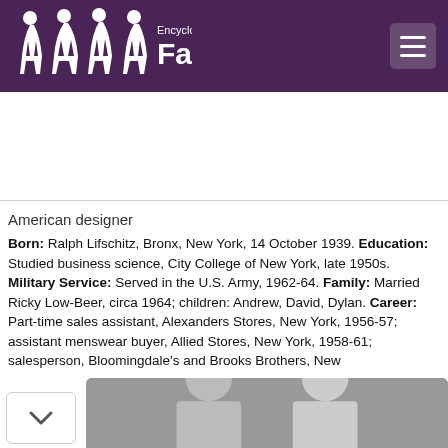Encyclopedia of Fashion
American designer
Born: Ralph Lifschitz, Bronx, New York, 14 October 1939. Education: Studied business science, City College of New York, late 1950s. Military Service: Served in the U.S. Army, 1962-64. Family: Married Ricky Low-Beer, circa 1964; children: Andrew, David, Dylan. Career: Part-time sales assistant, Alexanders Stores, New York, 1956-57; assistant menswear buyer, Allied Stores, New York, 1958-61; salesperson, Bloomingdale's and Brooks Brothers, New
[Figure (photo): Black and white photograph of two female models]